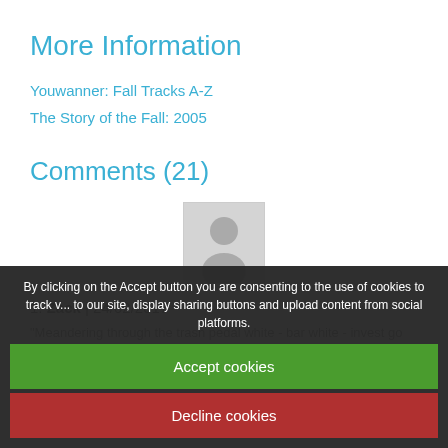More Information
Youwanner: Fall Tracks A-Z
The Story of the Fall: 2005
Comments (21)
[Figure (photo): Default user avatar placeholder image — grey silhouette of a person on light grey background]
1. Zack | 24/02/2017
"Meandering through the trash pedal white - bar white - invest go solo" appears at about 30:00 on Rambler.
By clicking on the Accept button you are consenting to the use of cookies to track visits to our site, display sharing buttons and upload content from social platforms.
Accept cookies
Decline cookies